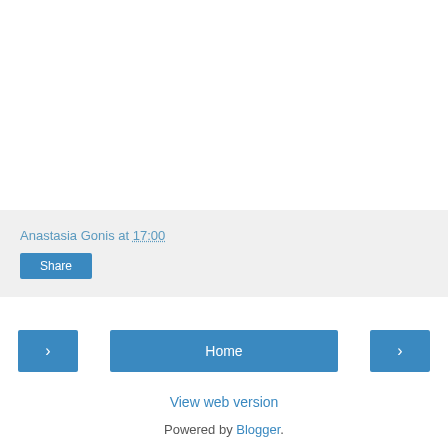Anastasia Gonis at 17:00
Share
‹
Home
›
View web version
Powered by Blogger.